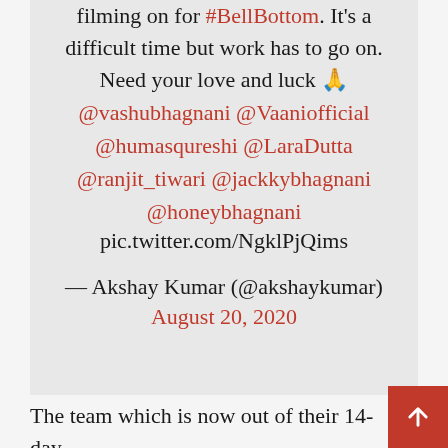filming on for #BellBottom. It's a difficult time but work has to go on. Need your love and luck 🙏
@vashubhagnani @Vaaniofficial @humasqureshi @LaraDutta @ranjit_tiwari @jackkybhagnani @honeybhagnani pic.twitter.com/NgklPjQims
— Akshay Kumar (@akshaykumar)
August 20, 2020
The team which is now out of their 14-day